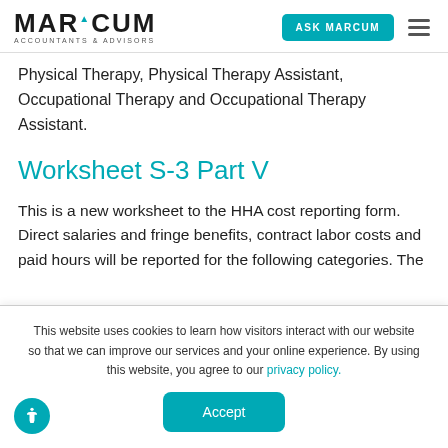MARCUM ACCOUNTANTS & ADVISORS | ASK MARCUM
Physical Therapy, Physical Therapy Assistant, Occupational Therapy and Occupational Therapy Assistant.
Worksheet S-3 Part V
This is a new worksheet to the HHA cost reporting form. Direct salaries and fringe benefits, contract labor costs and paid hours will be reported for the following categories. The
This website uses cookies to learn how visitors interact with our website so that we can improve our services and your online experience. By using this website, you agree to our privacy policy.
Accept